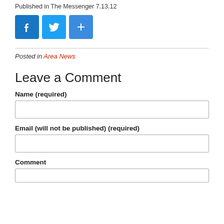Published in The Messenger 7.13.12
[Figure (infographic): Social sharing icons: Facebook (blue), Twitter (blue bird), and a blue plus/share button]
Posted in Area News
Leave a Comment
Name (required)
Email (will not be published) (required)
Comment